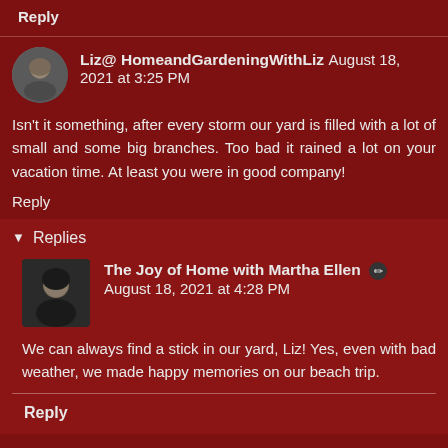Reply
Liz@ HomeandGardeningWithLiz August 18, 2021 at 3:25 PM
Isn't it something, after every storm our yard is filled with a lot of small and some big branches. Too bad it rained a lot on your vacation time. At least you were in good company!
Reply
Replies
The Joy of Home with Martha Ellen August 18, 2021 at 4:28 PM
We can always find a stick in our yard, Liz! Yes, even with bad weather, we made happy memories on our beach trip.
Reply